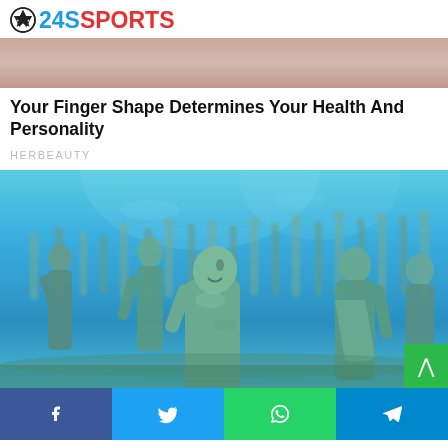24SSPORTS
[Figure (photo): Partial top image showing skin/fingers close-up, cropped]
Your Finger Shape Determines Your Health And Personality
HERBEAUTY
[Figure (photo): Underwater sculpture garden showing many human statues submerged in blue water, with a figure in the foreground looking upward, covered in moss/algae]
Facebook | Twitter | WhatsApp | Telegram social share bar